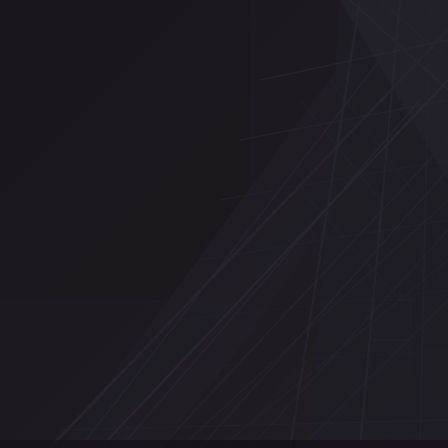[Figure (photo): Dark close-up photograph of a steel lattice tower or pylon structure (likely an electrical transmission tower or construction crane), showing diagonal and criss-crossing metal beams and trusses against a very dark/near-black background. The structural members form triangular geometric patterns. The image is very dark with the structure visible as slightly lighter dark tones against the near-black background.]